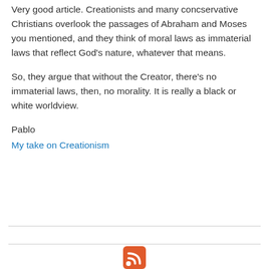Very good article. Creationists and many concservative Christians overlook the passages of Abraham and Moses you mentioned, and they think of moral laws as immaterial laws that reflect God's nature, whatever that means.
So, they argue that without the Creator, there's no immaterial laws, then, no morality. It is really a black or white worldview.
Pablo
My take on Creationism
[Figure (logo): RSS feed icon in red and white]